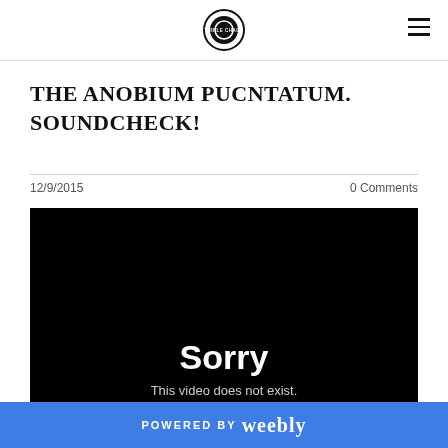Triple Chaos logo and navigation
THE ANOBIUM PUCNTATUM. SOUNDCHECK!
12/9/2015   0 Comments
[Figure (screenshot): Black video player showing Sorry - This video does not exist.]
POWERED BY weebly